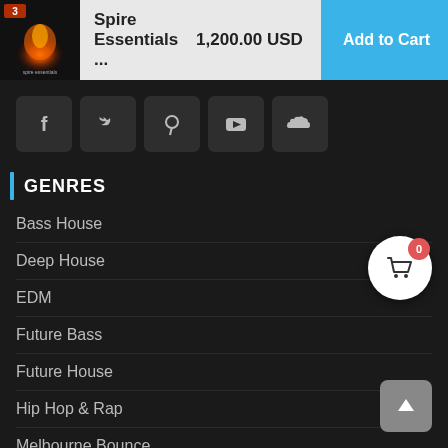[Figure (screenshot): Product thumbnail for Spire Essentials 3 showing orange fire/energy graphic on dark background]
Spire Essentials ...
1,200.00 USD
Add to Cart
[Figure (infographic): Social media icon bar with Facebook, Twitter, Pinterest, YouTube, SoundCloud icons on dark grey square backgrounds]
GENRES
Bass House
Deep House
EDM
Future Bass
Future House
Hip Hop & Rap
Melbourne Bounce
Pop
Progressive House
Slap House